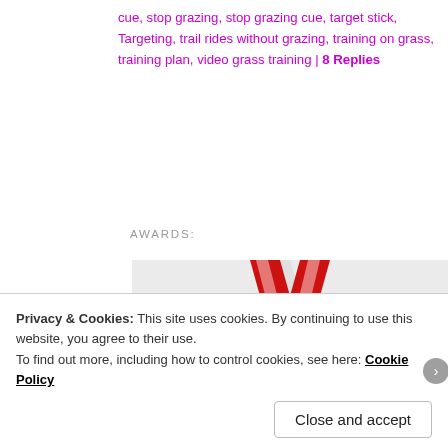cue, stop grazing, stop grazing cue, target stick, Targeting, trail rides without grazing, training on grass, training plan, video grass training | 8 Replies
AWARDS:
[Figure (photo): Gold award medal with red ribbon. Text on medal reads 'AWARDED TOP 75'. Medal has a trophy cup icon above the text.]
Privacy & Cookies: This site uses cookies. By continuing to use this website, you agree to their use.
To find out more, including how to control cookies, see here: Cookie Policy
Close and accept